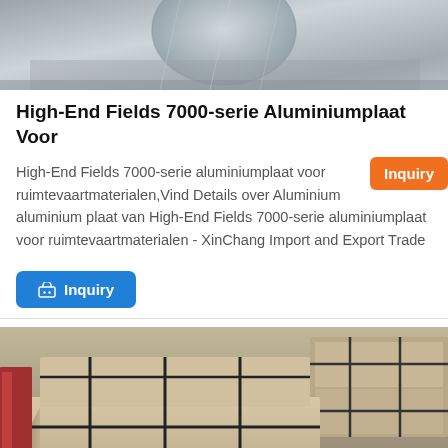[Figure (photo): Top photo showing wrapped aluminum plates or round material under plastic wrap, gray background.]
High-End Fields 7000-serie Aluminiumplaat Voor
High-End Fields 7000-serie aluminiumplaat voor ruimtevaartmaterialen,Vind Details over Aluminium aluminium plaat van High-End Fields 7000-serie aluminiumplaat voor ruimtevaartmaterialen - XinChang Import and Export Trade
[Figure (other): Orange 'Inquiry' button badge overlaid on the text area, top-right.]
[Figure (other): Blue 'Inquiry' button with shopping cart icon below the text description.]
[Figure (photo): Bottom photo showing packaged aluminum plates in cardboard/paper wrapping with black straps, stacked in a warehouse.]